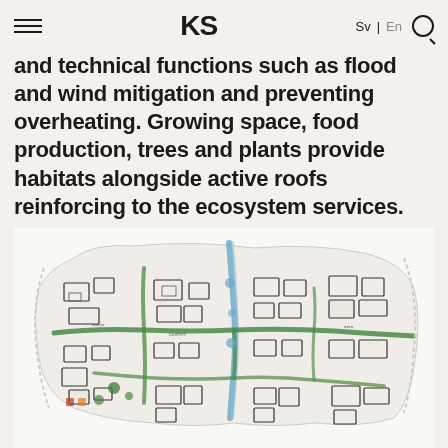KS — Sv | En
and technical functions such as flood and wind mitigation and preventing overheating. Growing space, food production, trees and plants provide habitats alongside active roofs reinforcing to the ecosystem services.
[Figure (map): Hand-drawn urban planning map showing a city district with green corridors (drawn in green), water features (drawn in blue), and building footprints (drawn in black outlines). The map appears to be a conceptual urban planning sketch showing ecological corridors and infrastructure.]